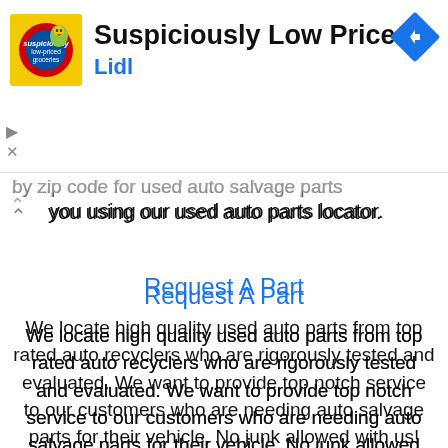[Figure (screenshot): Advertisement banner for Lidl - Suspiciously Low Prices with Lidl logo and navigation arrow icon]
by zip code for used auto salvage parts near you using our used auto parts locator.
Request A Part
We locate high quality used auto parts from top rated auto recyclers who are rigorously tested and evaluated. We want to provide top notch service to our customers who are needing auto salvage parts for their vehicle. No junk allowed with us!
buy used quarter panel and used auto parts with confidence!
Used Car Parts & Truck Parts Save You